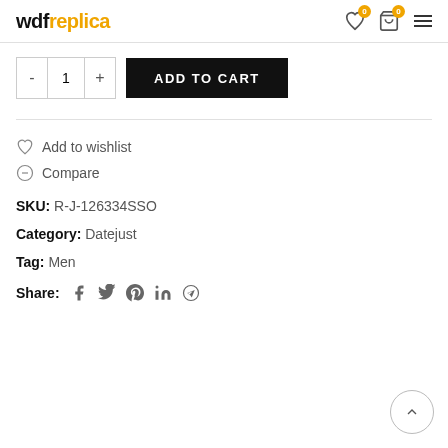[Figure (logo): wdfreplica logo with 'wdf' in black bold and 'replica' in orange]
[Figure (infographic): Navigation icons: heart wishlist icon with orange badge '0', shopping cart icon with orange badge '0', hamburger menu icon]
[Figure (infographic): Quantity selector with minus button, '1', plus button; ADD TO CART black button]
Add to wishlist
Compare
SKU: R-J-126334SSO
Category: Datejust
Tag: Men
Share: (social icons: facebook, twitter, pinterest, linkedin, telegram)